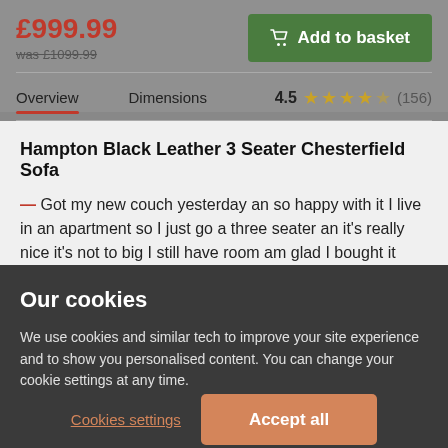£999.99
was £1099.99
Add to basket
Overview
Dimensions
4.5 ★★★★☆ (156)
Hampton Black Leather 3 Seater Chesterfield Sofa
— Got my new couch yesterday an so happy with it I live in an apartment so I just go a three seater an it's really nice it's not to big I still have room am glad I bought it
Our cookies
We use cookies and similar tech to improve your site experience and to show you personalised content. You can change your cookie settings at any time.
Cookies settings
Accept all